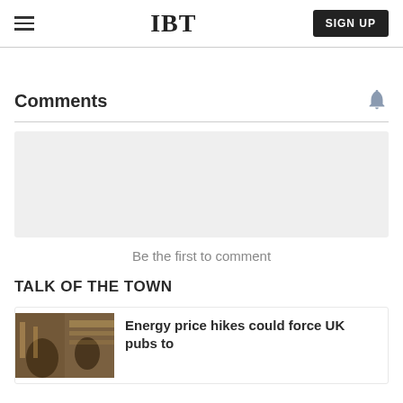IBT | SIGN UP
Comments
Be the first to comment
TALK OF THE TOWN
Energy price hikes could force UK pubs to close